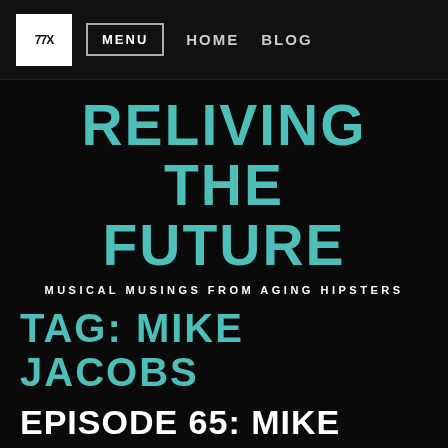77X | MENU | HOME | BLOG
RELIVING THE FUTURE
MUSICAL MUSINGS FROM AGING HIPSTERS
TAG: MIKE JACOBS
EPISODE 65: MIKE JACOBS, LEGENDARY INDIE RECORD